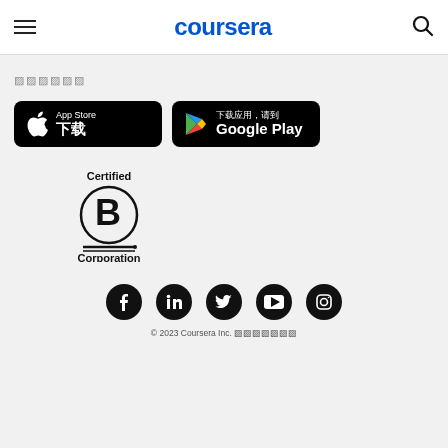coursera
🔲🔲🔲🔲🔲🔲
[Figure (logo): App Store download button (black, Apple logo, text 'App Store 下载' in Chinese)]
[Figure (logo): Google Play download button (black, Play logo, text '下载应用，请到 Google Play')]
[Figure (logo): Certified B Corporation logo — circle with large B, 'Certified' above, 'Corporation' below]
[Figure (logo): Social media icons row: Facebook, LinkedIn, Twitter, YouTube, Instagram — all black circles with white icons]
© 2023 Coursera Inc. 🔲🔲🔲🔲🔲🔲🔲